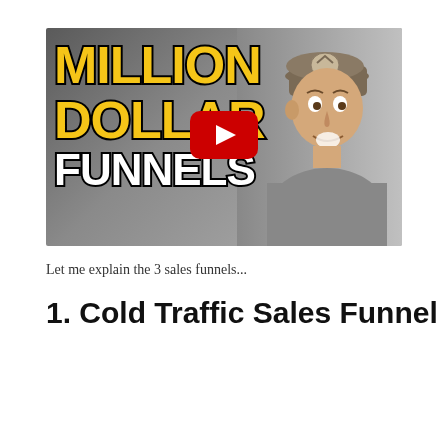[Figure (screenshot): YouTube video thumbnail showing bold text 'MILLION DOLLAR FUNNELS' in large yellow and white letters with a man in a baseball cap on the right side. A red YouTube play button is centered over the image.]
Let me explain the 3 sales funnels...
1. Cold Traffic Sales Funnel